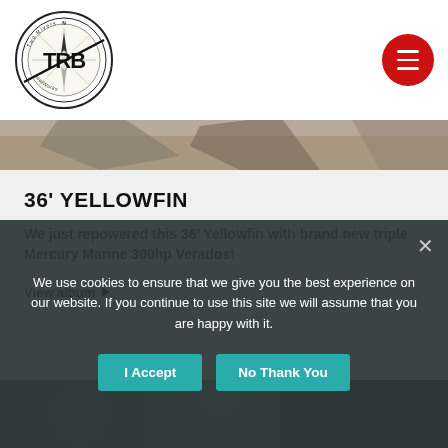[Figure (logo): Two Rivers BoatWorks circular logo with compass and TRB text]
[Figure (photo): Partial boat photo strip showing boat surface from above]
36' YELLOWFIN
We just repowered this 36’ Yellowfin with brand new triple Mercury Marine 300hp Verados!
View album ▶
[Figure (photo): Partial boat photo strip at bottom of page]
We use cookies to ensure that we give you the best experience on our website. If you continue to use this site we will assume that you are happy with it.